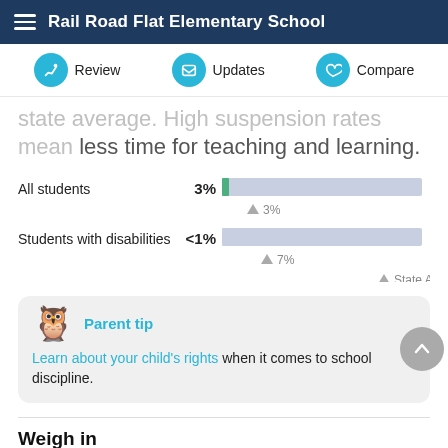Rail Road Flat Elementary School
Review  Updates  Compare
...state average. High suspension rates mean less time for teaching and learning.
[Figure (bar-chart): Suspension rates]
Parent tip
Learn about your child's rights when it comes to school discipline.
Weigh in